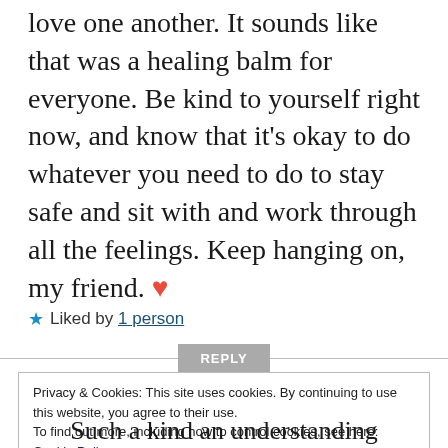love one another. It sounds like that was a healing balm for everyone. Be kind to yourself right now, and know that it's okay to do whatever you need to do to stay safe and sit with and work through all the feelings. Keep hanging on, my friend. ❤
★ Liked by 1 person
REPLY
Privacy & Cookies: This site uses cookies. By continuing to use this website, you agree to their use. To find out more, including how to control cookies, see here: Cookie Policy
Close and accept
Such a kind an understanding